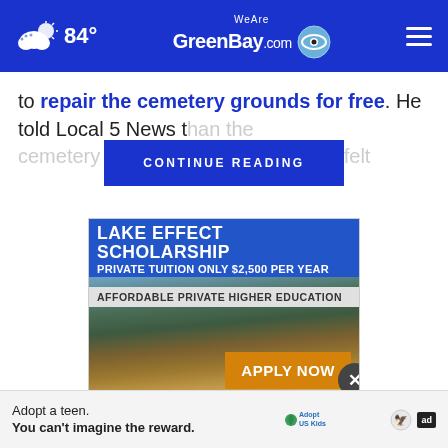84° WeAreGreenBay.com
to repair the cemetery grounds for free. He told Local 5 News t[hat he had seen the deterioration at] n the cemetery and [wanted to do some]thing he felt
CONTINUE READING
[Figure (advertisement): Lake Effect Scholarship advertisement for Finlandia University. Blue banner reads: LAKE EFFECT SCHOLARSHIP / PRIVATE TUITION ONLY $2,500 PER YEAR. Gray bar: AFFORDABLE PRIVATE HIGHER EDUCATION. Background photo of lakeside landscape. Gold button: APPLY NOW. Blue bottom bar: FINLANDIA. Close (X) button.]
Adopt a teen. You can't imagine the reward.
[Figure (logo): AdoptUSKids logo and HHS eagle logo and 'ad' badge]